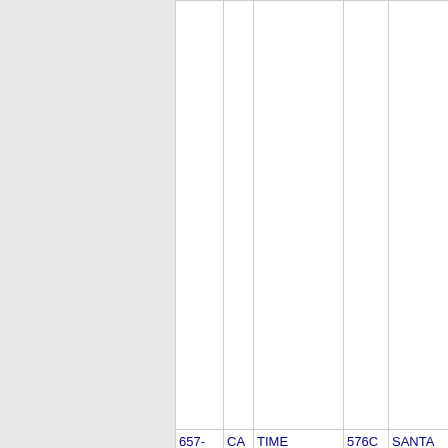|  |  |  |  |  |
| --- | --- | --- | --- | --- |
| 657-247-2 | CA | TIME WARNER CBL INFO SVCS (CA) | 576C | SANTA ANA |